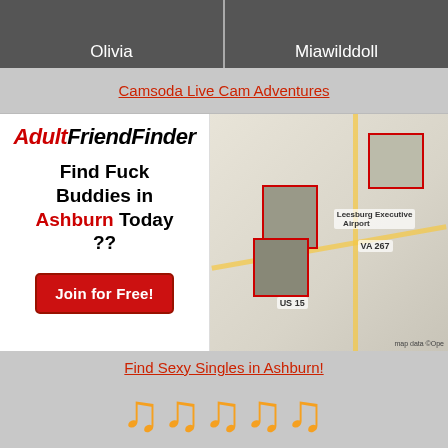[Figure (photo): Two adult webcam performer thumbnails side by side: 'Olivia' on left, 'Miawilddoll' on right]
Camsoda Live Cam Adventures
[Figure (infographic): AdultFriendFinder advertisement on left with logo, text 'Find Fuck Buddies in Ashburn Today ??', and 'Join for Free!' button. Right side shows a map with photo pins.]
Find Sexy Singles in Ashburn!
[Figure (logo): Partial orange cursive logo at bottom]